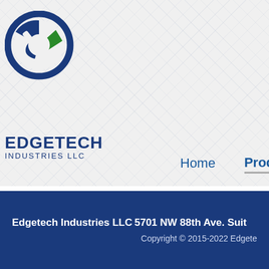[Figure (logo): Edgetech Industries LLC circular logo with blue ring and green arrow element]
EDGETECH INDUSTRIES LLC
Home   Products
Nitinol Sheet (Pickled)
We can also program custom sh... sales@edge-techind.com for a...
Edgetech Industries LLC   5701 NW 88th Ave. Suit...   Copyright © 2015-2022 Edgete...